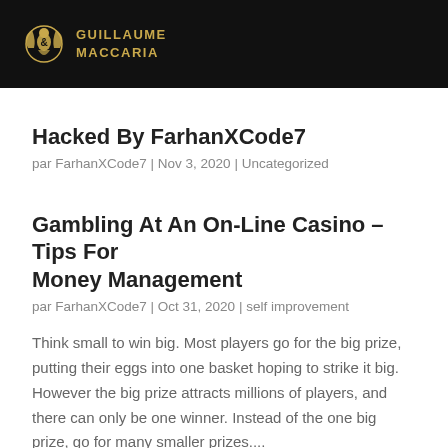GUILLAUME MACCARIA
Hacked By FarhanXCode7
par FarhanXCode7 | Nov 3, 2020 | Uncategorized
Gambling At An On-Line Casino – Tips For Money Management
par FarhanXCode7 | Oct 31, 2020 | self improvement
Think small to win big. Most players go for the big prize, putting their eggs into one basket hoping to strike it big. However the big prize attracts millions of players, and there can only be one winner. Instead of the one big prize, go for many smaller prizes....